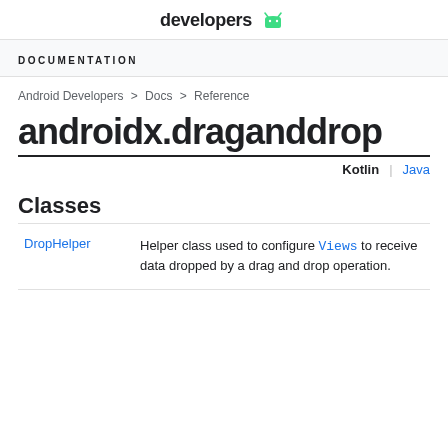developers
DOCUMENTATION
Android Developers > Docs > Reference
androidx.draganddrop
Kotlin | Java
Classes
|  |  |
| --- | --- |
| DropHelper | Helper class used to configure Views to receive data dropped by a drag and drop operation. |